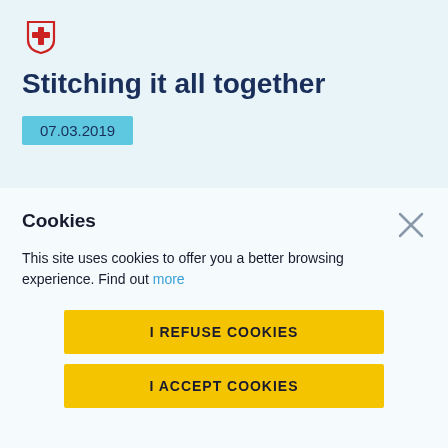[Figure (logo): Red cross/shield logo icon in the top left]
Stitching it all together
07.03.2019
Cookies
This site uses cookies to offer you a better browsing experience. Find out more
I REFUSE COOKIES
I ACCEPT COOKIES